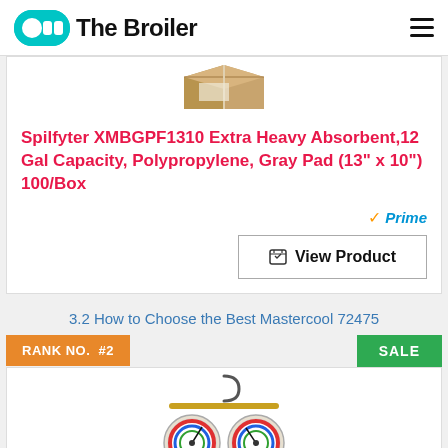Off The Broiler
[Figure (photo): Partial view of a product box image at top of card]
Spilfyter XMBGPF1310 Extra Heavy Absorbent,12 Gal Capacity, Polypropylene, Gray Pad (13" x 10") 100/Box
Prime  View Product
3.2 How to Choose the Best Mastercool 72475
RANK NO.  #2    SALE
[Figure (photo): Mastercool 72475 manifold gauge set with red and blue gauges and colored hoses on a brass manifold body, partially shown]